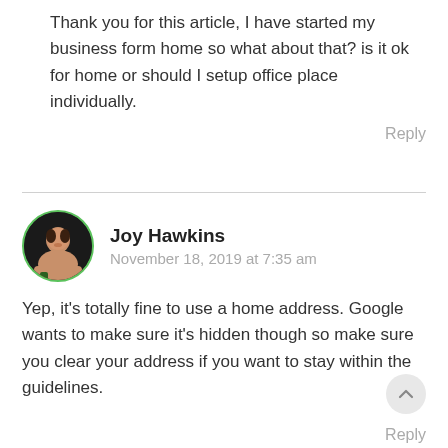Thank you for this article, I have started my business form home so what about that? is it ok for home or should I setup office place individually.
Reply
Joy Hawkins
November 18, 2019 at 7:35 am
Yep, it's totally fine to use a home address. Google wants to make sure it's hidden though so make sure you clear your address if you want to stay within the guidelines.
Reply